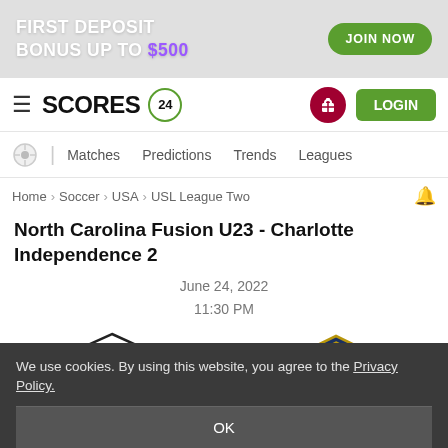[Figure (infographic): Promotional banner: FIRST DEPOSIT BONUS UP TO $500 with JOIN NOW button]
SCORES 24 — navigation bar with LOGIN button
Matches  Predictions  Trends  Leagues
Home > Soccer > USA > USL League Two
North Carolina Fusion U23 - Charlotte Independence 2
June 24, 2022
11:30 PM
[Figure (infographic): Match score display: North Carolina Fusion U23 logo on left, score 3 : 0 in center, Charlotte Independence 2 logo on right, with 'Ended' below the score]
We use cookies. By using this website, you agree to the Privacy Policy.
OK